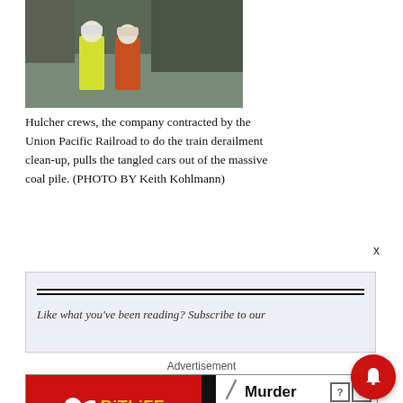[Figure (photo): Two workers in hard hats and safety vests at a train derailment cleanup site]
Hulcher crews, the company contracted by the Union Pacific Railroad to do the train derailment clean-up, pulls the tangled cars out of the massive coal pile. (PHOTO BY Keith Kohlmann)
[Figure (screenshot): Subscribe box with double horizontal line and partially visible italic text: Like what you've been reading? Subscribe to our...]
Advertisement
[Figure (screenshot): BitLife advertisement banner: red left half with BitLife logo, black divider, white right half showing Murder / Do it! with blue button]